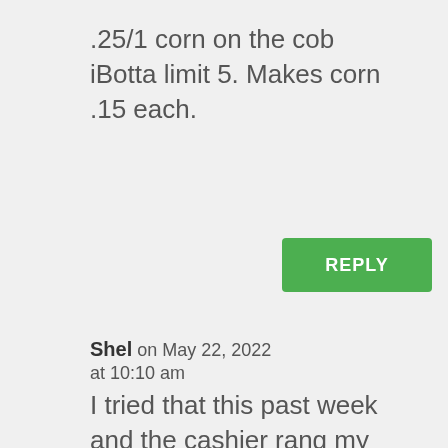.25/1 corn on the cob iBotta limit 5. Makes corn .15 each.
REPLY
Shel on May 22, 2022 at 10:10 am
I tried that this past week and the cashier rang my corn up as green onions. LOL I'm going to